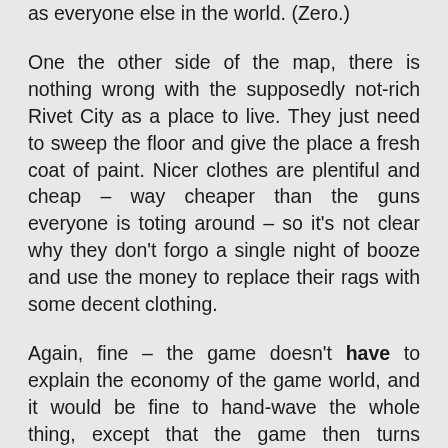as everyone else in the world. (Zero.)
One the other side of the map, there is nothing wrong with the supposedly not-rich Rivet City as a place to live. They just need to sweep the floor and give the place a fresh coat of paint. Nicer clothes are plentiful and cheap – way cheaper than the guns everyone is toting around – so it's not clear why they don't forgo a single night of booze and use the money to replace their rags with some decent clothing.
Again, fine – the game doesn't have to explain the economy of the game world, and it would be fine to hand-wave the whole thing, except that the game then turns around and expects us to care about this silly class envy / class warfare nonsense